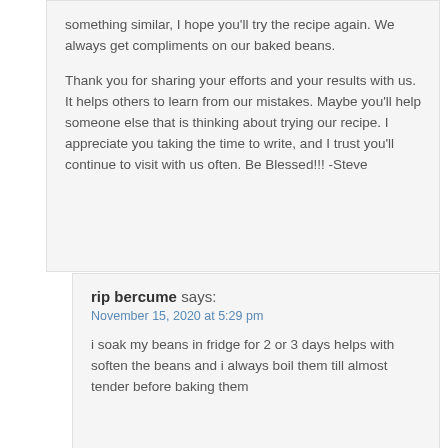something similar, I hope you'll try the recipe again. We always get compliments on our baked beans.
Thank you for sharing your efforts and your results with us. It helps others to learn from our mistakes. Maybe you'll help someone else that is thinking about trying our recipe. I appreciate you taking the time to write, and I trust you'll continue to visit with us often. Be Blessed!!! -Steve
rip bercume says:
November 15, 2020 at 5:29 pm
i soak my beans in fridge for 2 or 3 days helps with soften the beans and i always boil them till almost tender before baking them